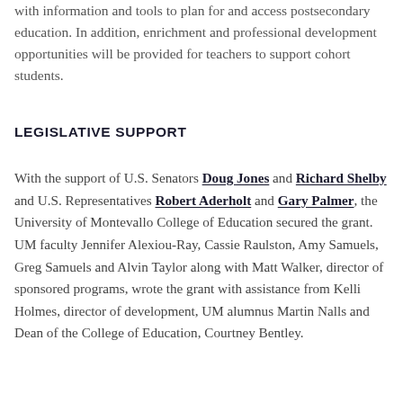with information and tools to plan for and access postsecondary education. In addition, enrichment and professional development opportunities will be provided for teachers to support cohort students.
LEGISLATIVE SUPPORT
With the support of U.S. Senators Doug Jones and Richard Shelby and U.S. Representatives Robert Aderholt and Gary Palmer, the University of Montevallo College of Education secured the grant. UM faculty Jennifer Alexiou-Ray, Cassie Raulston, Amy Samuels, Greg Samuels and Alvin Taylor along with Matt Walker, director of sponsored programs, wrote the grant with assistance from Kelli Holmes, director of development, UM alumnus Martin Nalls and Dean of the College of Education, Courtney Bentley.